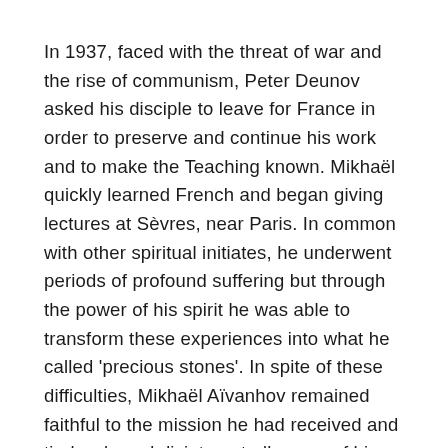In 1937, faced with the threat of war and the rise of communism, Peter Deunov asked his disciple to leave for France in order to preserve and continue his work and to make the Teaching known. Mikhaël quickly learned French and began giving lectures at Sèvres, near Paris. In common with other spiritual initiates, he underwent periods of profound suffering but through the power of his spirit he was able to transform these experiences into what he called 'precious stones'. In spite of these difficulties, Mikhaël Aïvanhov remained faithful to the mission he had received and tirelessly and disinterestedly gave of his love, his knowledge and his attention to all those he met.
By the time he left us in 1986, Omraam Mikhaël